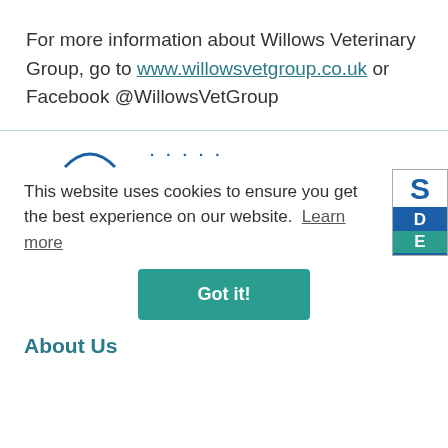For more information about Willows Veterinary Group, go to www.willowsvetgroup.co.uk or Facebook @WillowsVetGroup
This website uses cookies to ensure you get the best experience on our website. Learn more
Got it!
About Us